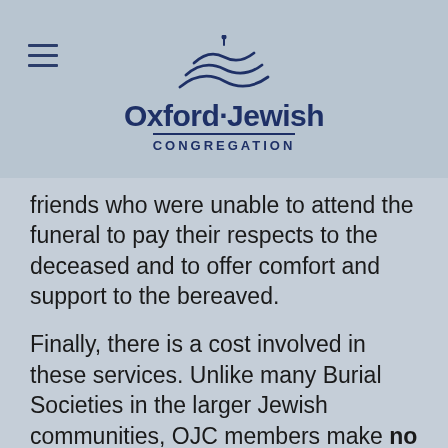[Figure (logo): Oxford Jewish Congregation logo with decorative wave/water mark above text]
friends who were unable to attend the funeral to pay their respects to the deceased and to offer comfort and support to the bereaved.
Finally, there is a cost involved in these services.  Unlike many Burial Societies in the larger Jewish communities, OJC members make no contribution in advance towards the costs of burial.  The CK will make all the necessary arrangements and will initially settle the costs, but will then issue a single invoice to the ...